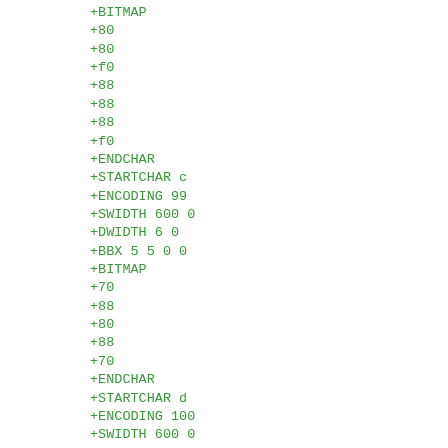+BITMAP
+80
+80
+f0
+88
+88
+88
+f0
+ENDCHAR
+STARTCHAR c
+ENCODING 99
+SWIDTH 600 0
+DWIDTH 6 0
+BBX 5 5 0 0
+BITMAP
+70
+88
+80
+88
+70
+ENDCHAR
+STARTCHAR d
+ENCODING 100
+SWIDTH 600 0
+DWIDTH 6 0
+BBX 5 7 0 0
+BITMAP
+08
+08
+78
+88